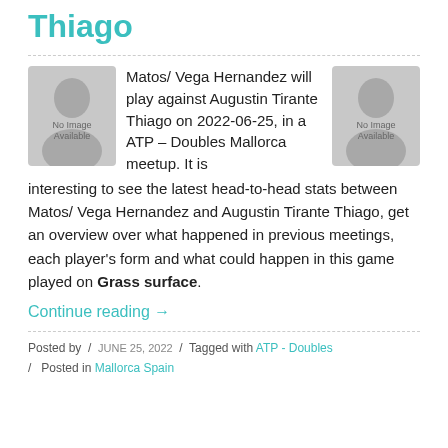Thiago
Matos/ Vega Hernandez will play against Augustin Tirante Thiago on 2022-06-25, in a ATP – Doubles Mallorca meetup. It is interesting to see the latest head-to-head stats between Matos/ Vega Hernandez and Augustin Tirante Thiago, get an overview over what happened in previous meetings, each player's form and what could happen in this game played on Grass surface.
Continue reading →
Posted by  /  JUNE 25, 2022  /  Tagged with ATP - Doubles  /  Posted in Mallorca Spain